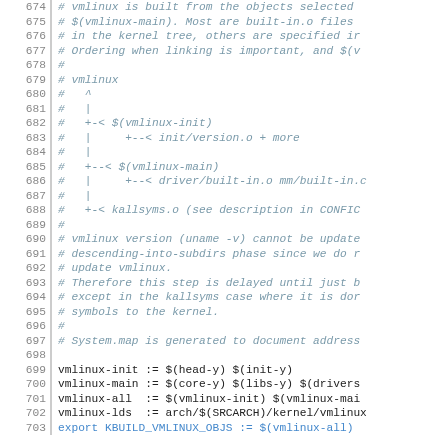[Figure (screenshot): Source code listing (Makefile) showing lines 674-703. Lines 674-698 are comments (italic, grey-blue). Lines 699-702 are normal code (black). Line 703 is an export statement (blue). Line numbers shown in left margin separated by a vertical bar.]